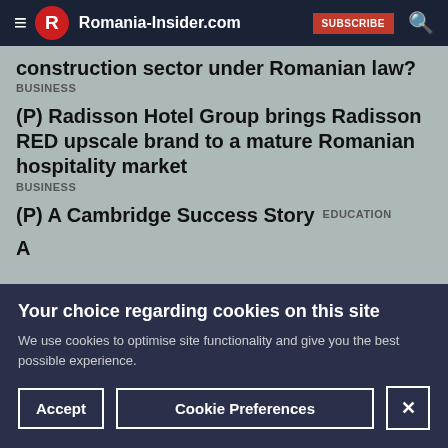Romania-Insider.com
construction sector under Romanian law?
BUSINESS
(P) Radisson Hotel Group brings Radisson RED upscale brand to a mature Romanian hospitality market
BUSINESS
(P) A Cambridge Success Story
EDUCATION
Your choice regarding cookies on this site
We use cookies to optimise site functionality and give you the best possible experience.
Accept
Cookie Preferences